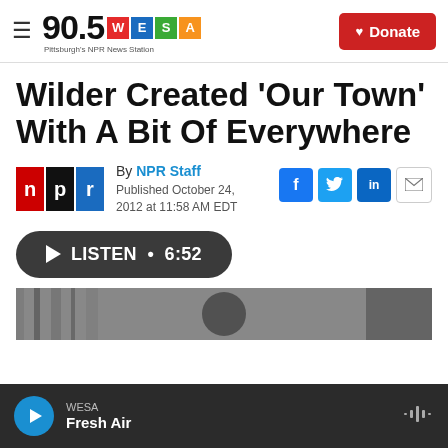90.5 WESA Pittsburgh's NPR News Station | Donate
Wilder Created 'Our Town' With A Bit Of Everywhere
By NPR Staff
Published October 24, 2012 at 11:58 AM EDT
LISTEN • 6:52
[Figure (photo): Partial view of a black and white photograph at the bottom of the page]
WESA
Fresh Air